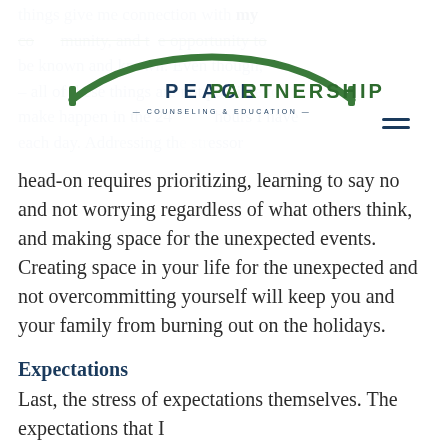PEACE PARTNERSHIP COUNSELING & EDUCATION
things give me connection with my community, and the opportunity to be known and known. Even though, – all of these things are not possible to make happen in the 24 hours I have each day. Addressing the stressor head-on requires prioritizing, learning to say no and not worrying regardless of what others think, and making space for the unexpected events. Creating space in your life for the unexpected and not overcommitting yourself will keep you and your family from burning out on the holidays.
Expectations
Last, the stress of expectations themselves. The expectations that I